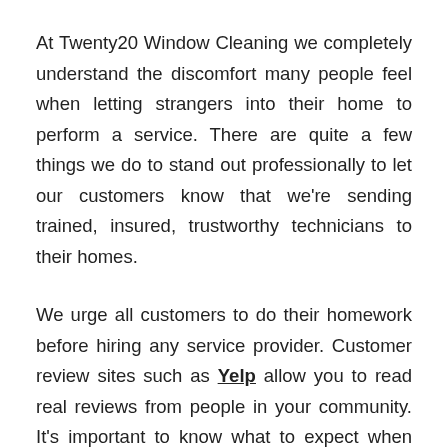At Twenty20 Window Cleaning we completely understand the discomfort many people feel when letting strangers into their home to perform a service. There are quite a few things we do to stand out professionally to let our customers know that we're sending trained, insured, trustworthy technicians to their homes.
We urge all customers to do their homework before hiring any service provider. Customer review sites such as Yelp allow you to read real reviews from people in your community. It's important to know what to expect when hiring someone to do work in or around your home. Do they have a reputation for